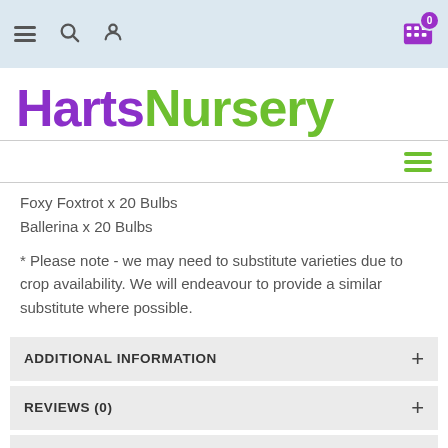HartsNursery navigation header
HartsNursery
Foxy Foxtrot x 20 Bulbs
Ballerina x 20 Bulbs
* Please note - we may need to substitute varieties due to crop availability. We will endeavour to provide a similar substitute where possible.
ADDITIONAL INFORMATION
REVIEWS (0)
DELIVERY / RETURNS